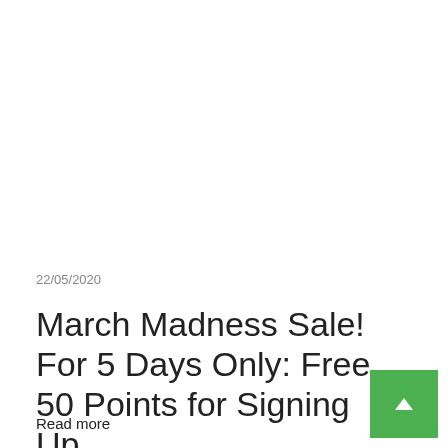22/05/2020
March Madness Sale! For 5 Days Only: Free 50 Points for Signing Up
Read more